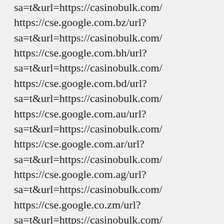sa=t&url=https://casinobulk.com/ https://cse.google.com.bz/url?sa=t&url=https://casinobulk.com/ https://cse.google.com.bh/url?sa=t&url=https://casinobulk.com/ https://cse.google.com.bd/url?sa=t&url=https://casinobulk.com/ https://cse.google.com.au/url?sa=t&url=https://casinobulk.com/ https://cse.google.com.ar/url?sa=t&url=https://casinobulk.com/ https://cse.google.com.ag/url?sa=t&url=https://casinobulk.com/ https://cse.google.co.zm/url?sa=t&url=https://casinobulk.com/